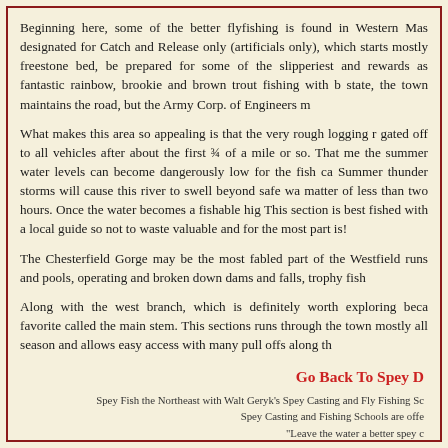Beginning here, some of the better flyfishing is found in Western Mas designated for Catch and Release only (artificials only), which starts mostly freestone bed, be prepared for some of the slipperiest and rewards as fantastic rainbow, brookie and brown trout fishing with b state, the town maintains the road, but the Army Corp. of Engineers m
What makes this area so appealing is that the very rough logging r gated off to all vehicles after about the first ¾ of a mile or so. That me the summer water levels can become dangerously low for the fish ca Summer thunder storms will cause this river to swell beyond safe wa matter of less than two hours. Once the water becomes a fishable hig This section is best fished with a local guide so not to waste valuable and for the most part is!
The Chesterfield Gorge may be the most fabled part of the Westfield runs and pools, operating and broken down dams and falls, trophy fish
Along with the west branch, which is definitely worth exploring beca favorite called the main stem. This sections runs through the town mostly all season and allows easy access with many pull offs along th
Go Back To Spey D
Spey Fish the Northeast with Walt Geryk's Spey Casting and Fly Fishing Sc Spey Casting and Fishing Schools are offe "Leave the water a better spey c © Copyright 2013 by Walt Geryk and S